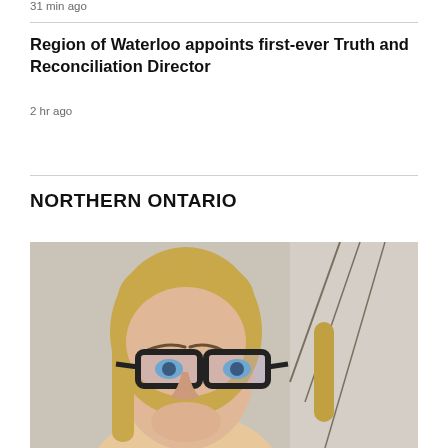31 min ago
Region of Waterloo appoints first-ever Truth and Reconciliation Director
2 hr ago
NORTHERN ONTARIO
[Figure (photo): Portrait photo of a woman with long blonde hair and large black-framed glasses, smiling at the camera. She is wearing a light-colored top and is photographed indoors against a neutral/beige background with a decorative line art piece visible to the right.]